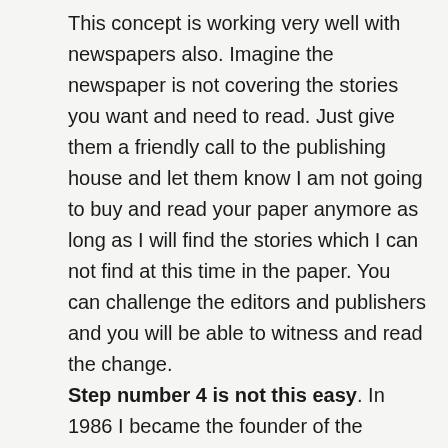This concept is working very well with newspapers also. Imagine the newspaper is not covering the stories you want and need to read. Just give them a friendly call to the publishing house and let them know I am not going to buy and read your paper anymore as long as I will find the stories which I can not find at this time in the paper. You can challenge the editors and publishers and you will be able to witness and read the change. Step number 4 is not this easy. In 1986 I became the founder of the international alternative media network IBS Independent Broadcasting Service Liberty, IBS Television Liberty and Radio IBS Liberty. You should know that my father was a poor fire fighter, my grand father was a French Army Officer stationed in 1945. In 1986 I have started with about 100 German Marks with the foundation an own and international alternative media network will come if...